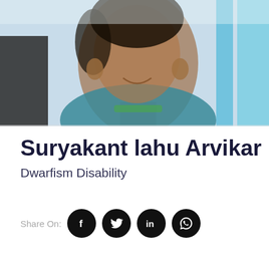[Figure (photo): Photo of Suryakant lahu Arvikar, a man smiling, wearing a teal/blue top, close-up portrait with light blue background elements.]
Suryakant lahu Arvikar
Dwarfism Disability
Share On: